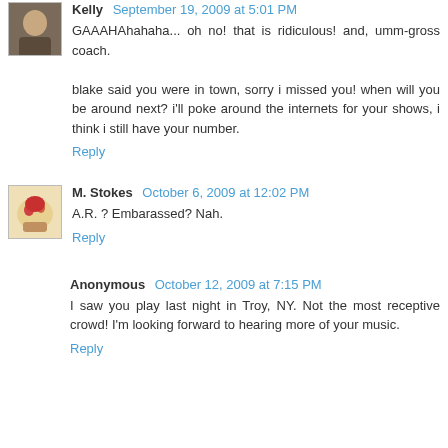Kelly September 19, 2009 at 5:01 PM
GAAAHAhahaha... oh no! that is ridiculous! and, umm-gross coach.

blake said you were in town, sorry i missed you! when will you be around next? i'll poke around the internets for your shows, i think i still have your number.
Reply
M. Stokes October 6, 2009 at 12:02 PM
A.R. ? Embarassed? Nah.
Reply
Anonymous October 12, 2009 at 7:15 PM
I saw you play last night in Troy, NY. Not the most receptive crowd! I'm looking forward to hearing more of your music.
Reply